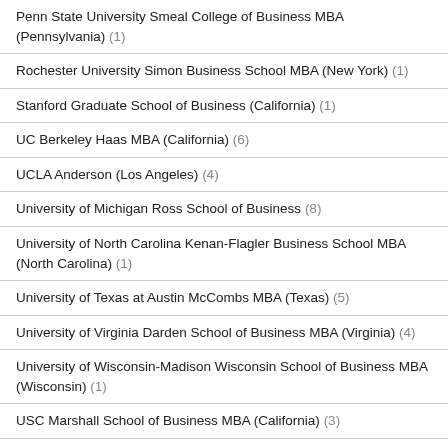Penn State University Smeal College of Business MBA (Pennsylvania) (1)
Rochester University Simon Business School MBA (New York) (1)
Stanford Graduate School of Business (California) (1)
UC Berkeley Haas MBA (California) (6)
UCLA Anderson (Los Angeles) (4)
University of Michigan Ross School of Business (8)
University of North Carolina Kenan-Flagler Business School MBA (North Carolina) (1)
University of Texas at Austin McCombs MBA (Texas) (5)
University of Virginia Darden School of Business MBA (Virginia) (4)
University of Wisconsin-Madison Wisconsin School of Business MBA (Wisconsin) (1)
USC Marshall School of Business MBA (California) (3)
Vanderbilt Owen MBA (Nashville) (2)